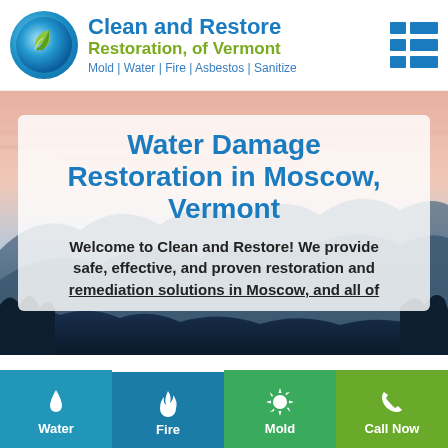[Figure (logo): Clean and Restore Restoration of Vermont logo with circular blue globe and green leaf icon]
Clean and Restore Restoration, of Vermont
Mold | Water | Fire | Asbestos | Sanitize
[Figure (photo): Mountain landscape at dusk with pink and blue sky and dark silhouetted hills]
Water Damage Restoration in Moscow, Vermont
Welcome to Clean and Restore! We provide safe, effective, and proven restoration and remediation solutions in Moscow, and all of
Water
Fire
Mold
Call Now